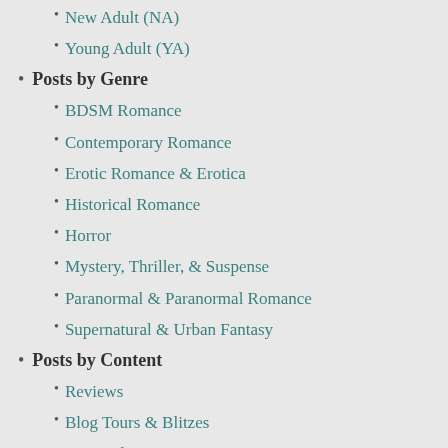New Adult (NA)
Young Adult (YA)
Posts by Genre
BDSM Romance
Contemporary Romance
Erotic Romance & Erotica
Historical Romance
Horror
Mystery, Thriller, & Suspense
Paranormal & Paranormal Romance
Supernatural & Urban Fantasy
Posts by Content
Reviews
Blog Tours & Blitzes
New Releases
Cover Reveals
Excerpts
Guest Posts
Interviews
Avon Addicts
Ebook Sales